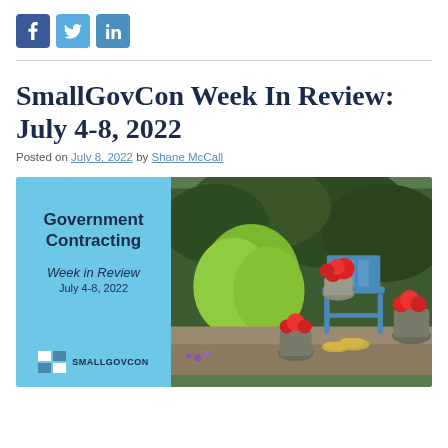[Figure (illustration): Social media share buttons: Facebook (dark blue), Twitter (light blue), LinkedIn (blue)]
SmallGovCon Week In Review: July 4-8, 2022
Posted on July 8, 2022 by Shane McCall
[Figure (illustration): SmallGovCon Week in Review banner image. Left side: light blue background with bold text 'Government Contracting Week in Review July 4-8, 2022' and SmallGovCon logo. Right side: garden photo with blue chair, red flowers, and wooden clogs.]